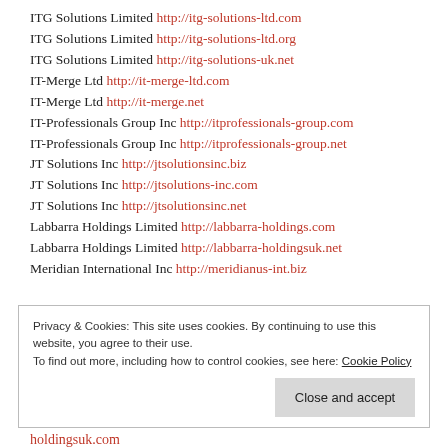ITG Solutions Limited http://itg-solutions-ltd.com
ITG Solutions Limited http://itg-solutions-ltd.org
ITG Solutions Limited http://itg-solutions-uk.net
IT-Merge Ltd http://it-merge-ltd.com
IT-Merge Ltd http://it-merge.net
IT-Professionals Group Inc http://itprofessionals-group.com
IT-Professionals Group Inc http://itprofessionals-group.net
JT Solutions Inc http://jtsolutionsinc.biz
JT Solutions Inc http://jtsolutions-inc.com
JT Solutions Inc http://jtsolutionsinc.net
Labbarra Holdings Limited http://labbarra-holdings.com
Labbarra Holdings Limited http://labbarra-holdingsuk.net
Meridian International Inc http://meridianus-int.biz
Privacy & Cookies: This site uses cookies. By continuing to use this website, you agree to their use. To find out more, including how to control cookies, see here: Cookie Policy
holdingsuk.com